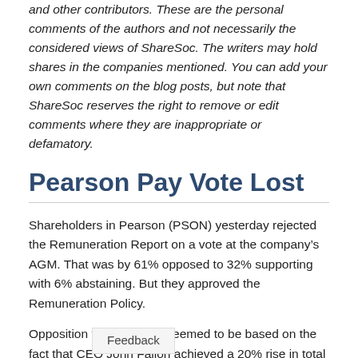and other contributors. These are the personal comments of the authors and not necessarily the considered views of ShareSoc. The writers may hold shares in the companies mentioned. You can add your own comments on the blog posts, but note that ShareSoc reserves the right to remove or edit comments where they are inappropriate or defamatory.
Pearson Pay Vote Lost
Shareholders in Pearson (PSON) yesterday rejected the Remuneration Report on a vote at the company's AGM. That was by 61% opposed to 32% supporting with 6% abstaining. But they approved the Remuneration Policy.
Opposition to the Report seemed to be based on the fact that CEO John Fallon achieved a 20% rise in total pay despi[te falling earnings] and several profit warnings.